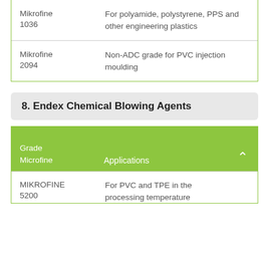| Grade Microfine | Applications |
| --- | --- |
| Mikrofine 1036 | For polyamide, polystyrene, PPS and other engineering plastics |
| Mikrofine 2094 | Non-ADC grade for PVC injection moulding |
8. Endex Chemical Blowing Agents
| Grade Microfine | Applications |
| --- | --- |
| MIKROFINE 5200 | For PVC and TPE in the processing temperature |